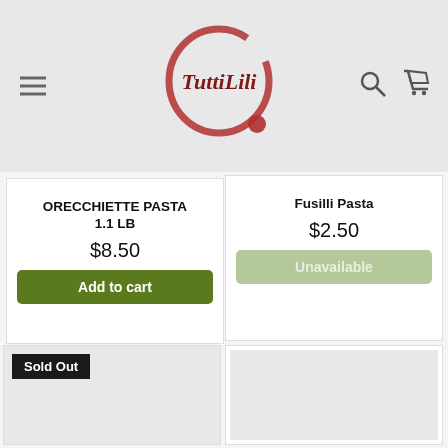[Figure (logo): TuttiLili logo — red wine stain circle with 'TuttiLili' text inside in dark red script, and a small red dot below-right]
ORECCHIETTE PASTA 1.1 LB
$8.50
Add to cart
Fusilli Pasta
$2.50
Unavailable
Sold Out